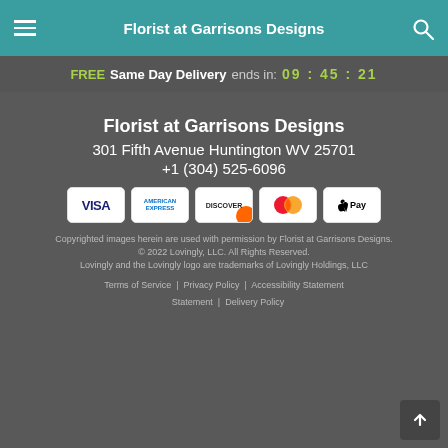Florist at Garrisons Designs
FREE Same Day Delivery ends in: 09 : 45 : 21
Florist at Garrisons Designs
301 Fifth Avenue Huntington WV 25701
+1 (304) 525-6096
[Figure (other): Payment method icons: VISA, American Express, Discover, Mastercard, Apple Pay]
Copyrighted images herein are used with permission by Florist at Garrisons Designs.
© 2022 Lovingly, LLC. All Rights Reserved.
Lovingly and the Lovingly logo are trademarks of Lovingly Holdings, LLC
Terms of Service | Privacy Policy | Accessibility Statement | Delivery Policy